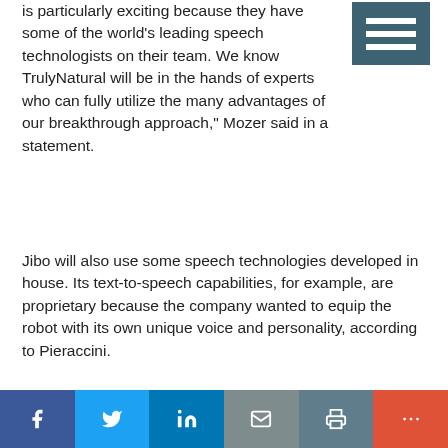is particularly exciting because they have some of the world's leading speech technologists on their team. We know TrulyNatural will be in the hands of experts who can fully utilize the many advantages of our breakthrough approach," Mozer said in a statement.
[Figure (other): Hamburger menu icon with three horizontal white bars on dark teal/slate background]
Jibo will also use some speech technologies developed in house. Its text-to-speech capabilities, for example, are proprietary because the company wanted to equip the robot with its own unique voice and personality, according to Pieraccini.
The partnership with Sensory, though, "brings together two great teams working together for a first-of-its-kind product," he added.
[Figure (photo): Stack of Speech Technology Magazine issues fanned out, showing covers with the word 'Speech' in large teal letters on blue and dark backgrounds]
[Figure (infographic): Advertisement banner: Speech Technology Magazine Sponsored Web Events | Live Streaming Audio. TOPICAL. TIMELY. ARCHIVED. FREE.]
Social sharing bar with Facebook, Twitter, LinkedIn, Email, Print, and More buttons